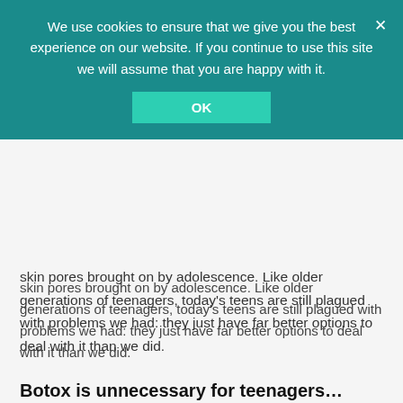skin pores brought on by adolescence. Like older generations of teenagers, today's teens are still plagued with problems we had: they just have far better options to deal with it than we did.
Botox is unnecessary for teenagers...
While certain major treatments – such as nose reshaping – can be performed on teenagers, providing the surgeon is satisfied that the growth spurt has concluded, fully legitimate clinics strongly recommend against the use of dermal fillers and Botox on teenagers, because it simply isn't necessary. People tend to turn to Botox